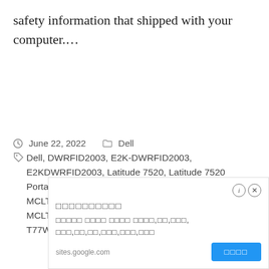safety information that shipped with your computer.…
June 22, 2022   Dell
Dell, DWRFID2003, E2K-DWRFID2003, E2KDWRFID2003, Latitude 7520, Latitude 7520 Portable Laptop, MCLT77W968-D11, MCLT77W968C9-D1, MCLT77W968C9D1, MCLT77W968D11, Portable Laptop, T77W968-D11, T77W968C9-D1, T77W968C9D1,
[Figure (screenshot): Advertisement overlay from sites.google.com with Japanese/Chinese text characters, title bar with info and close icons, body text with placeholder square characters, and a blue button with square characters.]